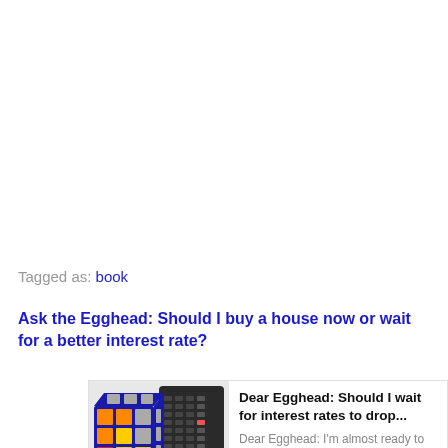Tagged as: book
Ask the Egghead: Should I buy a house now or wait for a better interest rate?
[Figure (screenshot): Thumbnail image showing a Rubik's cube next to a calculator, with text overlay reading 'Dear Egghead: Should I wait for interest rates to drop...' and subtitle 'Dear Egghead: I'm almost ready to buy a house, but I'm worried']